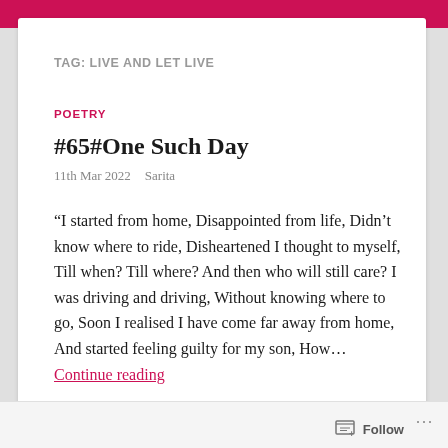TAG: LIVE AND LET LIVE
POETRY
#65#One Such Day
11th Mar 2022   Sarita
“I started from home, Disappointed from life, Didn’t know where to ride, Disheartened I thought to myself, Till when? Till where? And then who will still care? I was driving and driving, Without knowing where to go, Soon I realised I have come far away from home, And started feeling guilty for my son, How… Continue reading
Follow